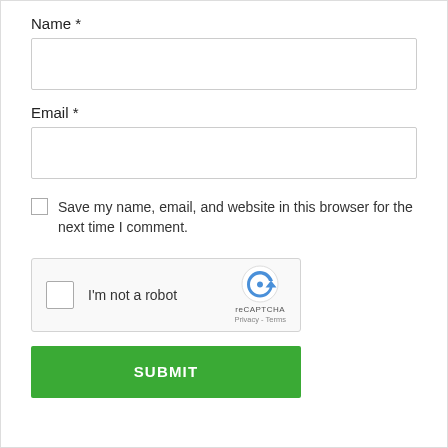Name *
[Figure (other): Empty text input field for Name]
Email *
[Figure (other): Empty text input field for Email]
Save my name, email, and website in this browser for the next time I comment.
[Figure (other): reCAPTCHA widget with checkbox and 'I'm not a robot' label, reCAPTCHA logo, Privacy and Terms links]
SUBMIT